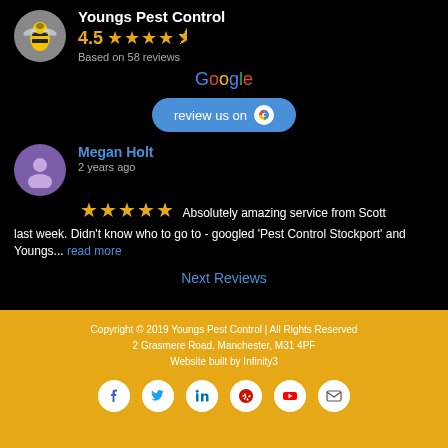Youngs Pest Control
4.5 stars — Based on 58 reviews
[Figure (logo): Google logo text]
[Figure (other): review us on Google button]
Megan Holt — 2 years ago
Absolutely amazing service from Scott last week. Didn't know who to go to - googled 'Pest Control Stockport' and Youngs... read more
Next Reviews
Copyright © 2019 Youngs Pest Control | All Rights Reserved
2 Grasmere Road, Manchester, M31 4PF
Website built by Infinity3